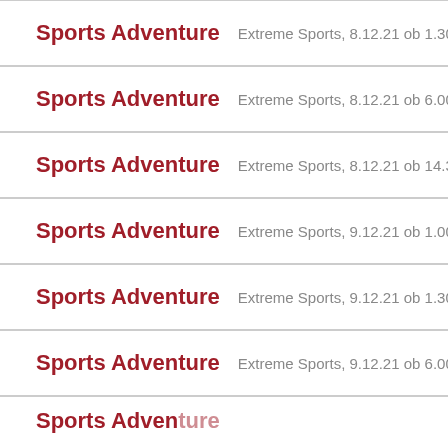Sports Adventure   Extreme Sports, 8.12.21 ob 1.30
Sports Adventure   Extreme Sports, 8.12.21 ob 6.00
Sports Adventure   Extreme Sports, 8.12.21 ob 14.30
Sports Adventure   Extreme Sports, 9.12.21 ob 1.00
Sports Adventure   Extreme Sports, 9.12.21 ob 1.30
Sports Adventure   Extreme Sports, 9.12.21 ob 6.00
Sports Adventure   Extreme Sports, ...